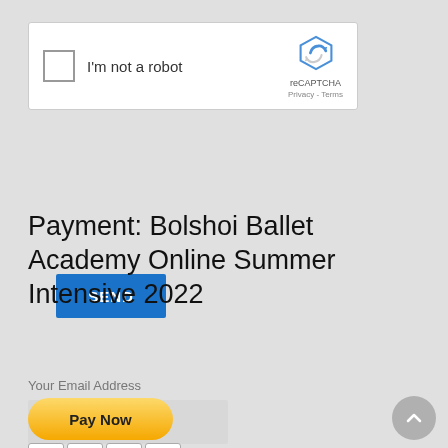[Figure (screenshot): reCAPTCHA widget with checkbox, 'I'm not a robot' label, reCAPTCHA logo and Privacy/Terms links]
SEND
Payment: Bolshoi Ballet Academy Online Summer Intensive 2022
One Week Intensive $500 USD - 500
Your Email Address
[Figure (screenshot): PayPal Pay Now button with Visa, Mastercard, Amex, Discover card icons below]
[Figure (other): Scroll to top circular button with upward chevron]